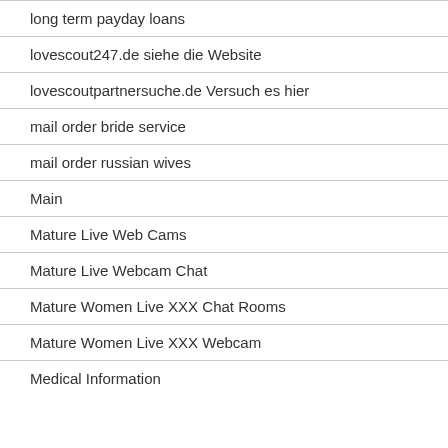long term payday loans
lovescout247.de siehe die Website
lovescoutpartnersuche.de Versuch es hier
mail order bride service
mail order russian wives
Main
Mature Live Web Cams
Mature Live Webcam Chat
Mature Women Live XXX Chat Rooms
Mature Women Live XXX Webcam
Medical Information